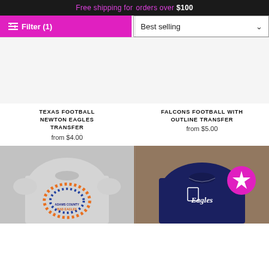Free shipping for orders over $100
Filter (1)   Best selling
TEXAS FOOTBALL NEWTON EAGLES TRANSFER
from $4.00
FALCONS FOOTBALL WITH OUTLINE TRANSFER
from $5.00
[Figure (photo): Gray t-shirt with Adams County Bad Eagles dotted rainbow design]
[Figure (photo): Navy blue t-shirt with script Eagles text, star badge overlay]